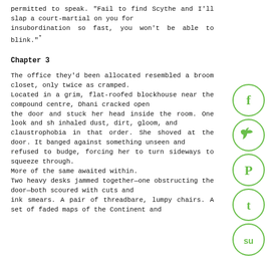permitted to speak. "Fail to find Scythe and I'll slap a court-martial on you for insubordination so fast, you won't be able to blink."
Chapter 3
The office they'd been allocated resembled a broom closet, only twice as cramped. Located in a grim, flat-roofed blockhouse near the compound centre, Dhani cracked open the door and stuck her head inside the room. One look and she inhaled dust, dirt, gloom, and claustrophobia in that order. She shoved at the door. It banged against something unseen and refused to budge, forcing her to turn sideways to squeeze through. More of the same awaited within. Two heavy desks jammed together—one obstructing the door—both scoured with cuts and ink smears. A pair of threadbare, lumpy chairs. A set of faded maps of the Continent and
[Figure (illustration): Social media sharing icons: Facebook (f), Twitter bird, Pinterest (P), Tumblr (t), StumbleUpon (su) — all in green circles on the right side of the page]